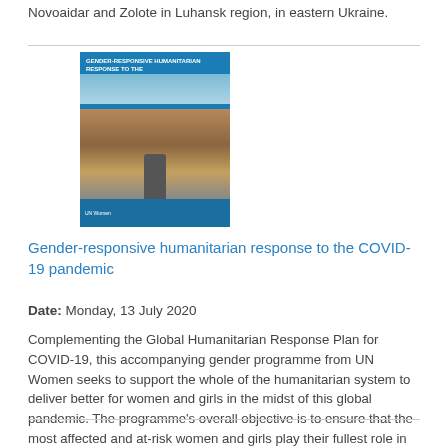Novoaidar and Zolote in Luhansk region, in eastern Ukraine.
[Figure (illustration): Book/report cover thumbnail showing a blue cover with white title text about gender-responsive humanitarian response to COVID-19, with a photo of women and children in a humanitarian setting]
Gender-responsive humanitarian response to the COVID-19 pandemic
Date: Monday, 13 July 2020
Complementing the Global Humanitarian Response Plan for COVID-19, this accompanying gender programme from UN Women seeks to support the whole of the humanitarian system to deliver better for women and girls in the midst of this global pandemic. The programme's overall objective is to ensure that the most affected and at-risk women and girls play their fullest role in response to COVID-19 and are protected from its impacts.